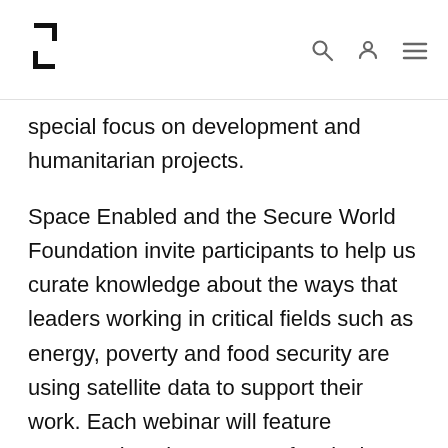[Logo: MIT Media Lab / Space Enabled] [search icon] [user icon] [menu icon]
special focus on development and humanitarian projects.
Space Enabled and the Secure World Foundation invite participants to help us curate knowledge about the ways that leaders working in critical fields such as energy, poverty and food security are using satellite data to support their work. Each webinar will feature presentations by a group of topical experts, in-seminar data collection through live poll questions, and audience Q+A. After each event, participants will also be asked to complete a post-seminar